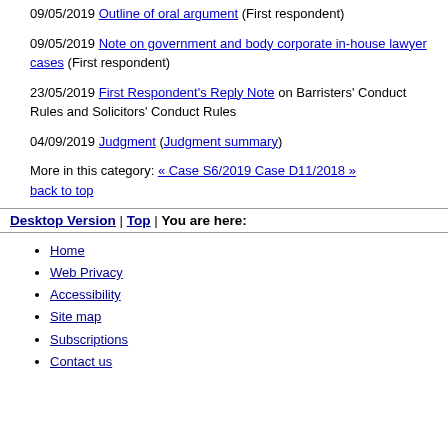09/05/2019 Outline of oral argument (First respondent)
09/05/2019 Note on government and body corporate in-house lawyer cases (First respondent)
23/05/2019 First Respondent's Reply Note on Barristers' Conduct Rules and Solicitors' Conduct Rules
04/09/2019 Judgment (Judgment summary)
More in this category: « Case S6/2019 Case D11/2018 » back to top
Desktop Version | Top | You are here:
Home
Web Privacy
Accessibility
Site map
Subscriptions
Contact us